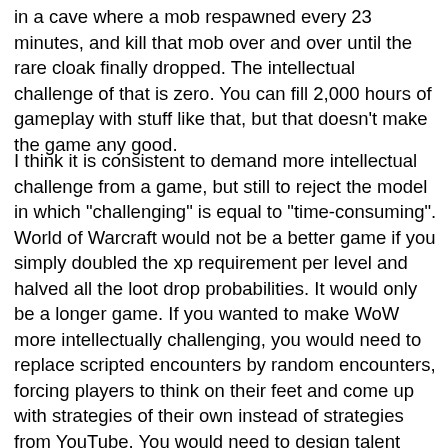in a cave where a mob respawned every 23 minutes, and kill that mob over and over until the rare cloak finally dropped. The intellectual challenge of that is zero. You can fill 2,000 hours of gameplay with stuff like that, but that doesn't make the game any good.
I think it is consistent to demand more intellectual challenge from a game, but still to reject the model in which "challenging" is equal to "time-consuming". World of Warcraft would not be a better game if you simply doubled the xp requirement per level and halved all the loot drop probabilities. It would only be a longer game. If you wanted to make WoW more intellectually challenging, you would need to replace scripted encounters by random encounters, forcing players to think on their feet and come up with strategies of their own instead of strategies from YouTube. You would need to design talent trees and combat abilities in a way that every choice has advantages and disadvantages to consider, instead of creating a system with a mathematical optimum talent build and spell rotation which is identical for every encounter. There are lots of ways to make games more intellectually challenging, the current batch just isn't